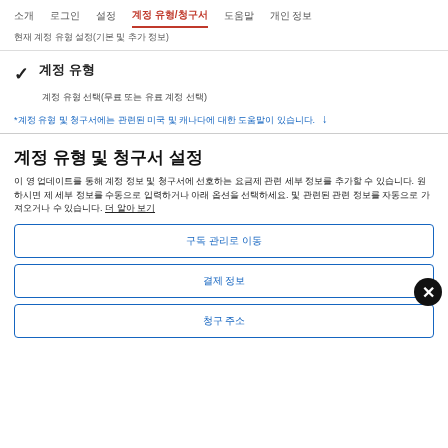소개  로그인  설정  계정 유형/청구서  도움말  개인 정보
현재 계정 유형 설정(기본 및 추가 정보)
✓ 계정 유형
계정 유형 선택(무료 또는 유료 계정 선택)
*계정 유형 및 청구서에는 관련된 미국 및 캐나다에 대한 도움말이 있습니다. ↓
계정 유형 및 청구서 설정
이 영 업데이트를 통해 계정 정보 및 청구서에 선호하는 요금제 관련 세부 정보를 추가할 수 있습니다. 원하시면 제 세부 정보를 수동으로 입력하거나 아래 옵션을 선택하세요. 및 관련된 관련 정보를 자동으로 가져오거나 수 있습니다. 더 알아 보기
구독 관리로 이동
결제 정보
청구 주소